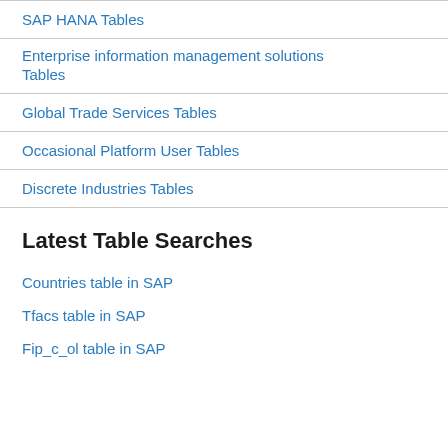SAP HANA Tables
Enterprise information management solutions Tables
Global Trade Services Tables
Occasional Platform User Tables
Discrete Industries Tables
Latest Table Searches
Countries table in SAP
Tfacs table in SAP
Fip_c_ol table in SAP